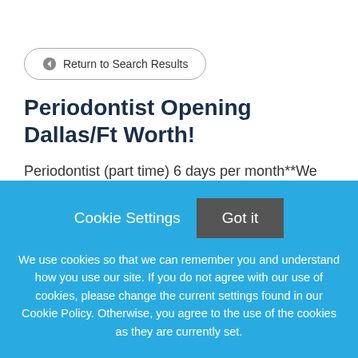← Return to Search Results
Periodontist Opening Dallas/Ft Worth!
Periodontist (part time) 6 days per month**We are looking for an exceptional Periodontist committed to
Cookie Settings
Got it
We use cookies so that we can remember you and understand how you use our site. If you do not agree with our use of cookies, please change the current settings found in our Cookie Policy. Otherwise, you agree to the use of the cookies as they are currently set.